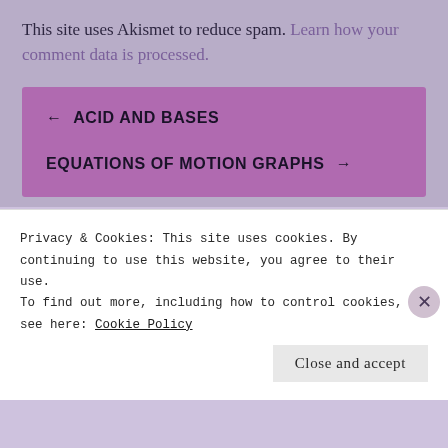This site uses Akismet to reduce spam. Learn how your comment data is processed.
← ACID AND BASES
EQUATIONS OF MOTION GRAPHS →
Privacy & Cookies: This site uses cookies. By continuing to use this website, you agree to their use.
To find out more, including how to control cookies, see here: Cookie Policy
Close and accept